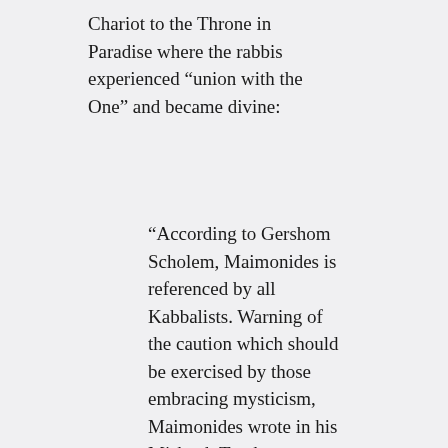Chariot to the Throne in Paradise where the rabbis experienced “union with the One” and became divine:
“According to Gershom Scholem, Maimonides is referenced by all Kabbalists. Warning of the caution which should be exercised by those embracing mysticism, Maimonides wrote in his Mishnah Torah: